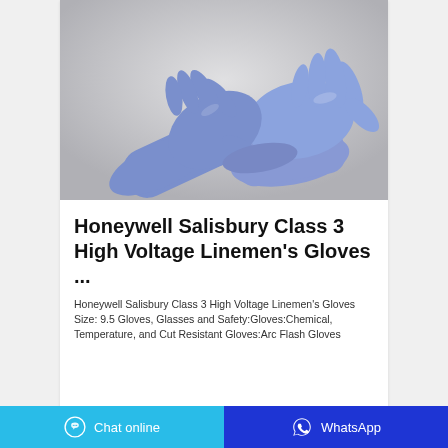[Figure (photo): Two hands wearing blue/periwinkle nitrile or rubber gloves, one hand pulling the glove onto the other wrist, on a light gray background.]
Honeywell Salisbury Class 3 High Voltage Linemen's Gloves ...
Honeywell Salisbury Class 3 High Voltage Linemen's Gloves Size: 9.5 Gloves, Glasses and Safety:Gloves:Chemical, Temperature, and Cut Resistant Gloves:Arc Flash Gloves
Chat online | WhatsApp